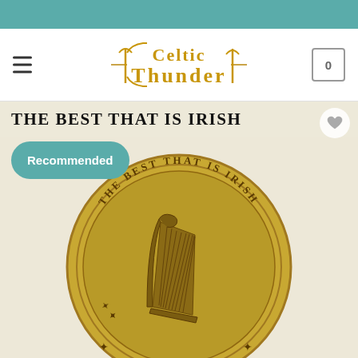Celtic Thunder store navigation bar
[Figure (screenshot): Celtic Thunder logo with ornate gold lettering on white navigation bar]
[Figure (photo): Product image showing a gold coin with an Irish harp and the text 'THE BEST THAT IS IRISH' around the rim, with a Recommended badge overlay]